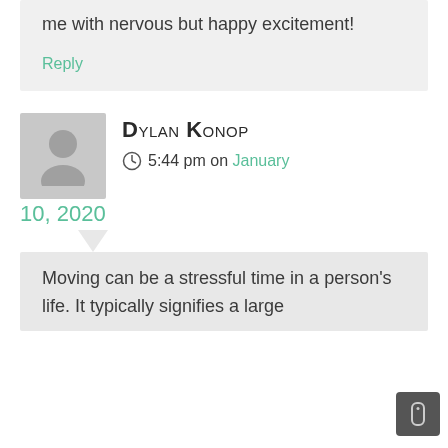me with nervous but happy excitement!
Reply
Dylan Konop
5:44 pm on January 10, 2020
Moving can be a stressful time in a person's life. It typically signifies a large